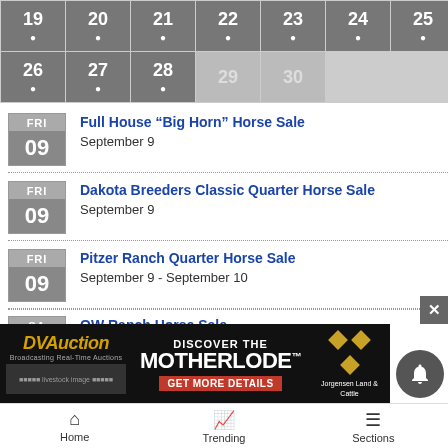[Figure (other): Calendar grid showing dates 19-30, with dates 19-28 in dark gray with dot indicators, 29-30 in medium gray, and remaining cells lighter]
Full House “Big Horn” Horse Sale
September 9
Dakota Breeders Classic Quarter Horse Sale
September 9
Pitzer Ranch Quarter Horse Sale
September 9 - September 10
OW Ranch Horse Sale (partial)
[Figure (other): DVAuction advertisement banner: Discover the Motherlode, Get More Details, Jorgensen Land & Cattle]
Home | Trending | Sections